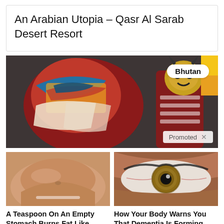An Arabian Utopia – Qasr Al Sarab Desert Resort
[Figure (photo): Bhutan traditional costume dancers in colorful attire with a masked figure, labeled 'Bhutan' with a Promoted badge]
[Figure (photo): Close-up of a person's midriff/belly area, ad for 'A Teaspoon On An Empty Stomach Burns Fat Like Crazy!' with 10,067 engagements]
A Teaspoon On An Empty Stomach Burns Fat Like Crazy!
10,067
[Figure (photo): Extreme close-up of a human eye with hazel iris, ad for 'How Your Body Warns You That Dementia Is Forming' with 36,047 engagements]
How Your Body Warns You That Dementia Is Forming
36,047